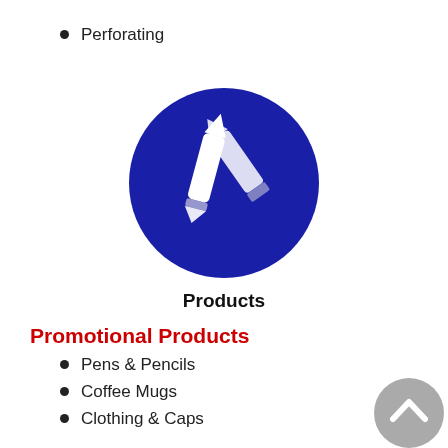Perforating
[Figure (illustration): Dark blue circle icon containing two white writing instruments (pen and pencil) crossed, representing a Products category.]
Products
Promotional Products
Pens & Pencils
Coffee Mugs
Clothing & Caps
Koozies
Key Chains
License Plate Holders
[Figure (illustration): Gray circular back-to-top button with a white upward-pointing chevron arrow.]